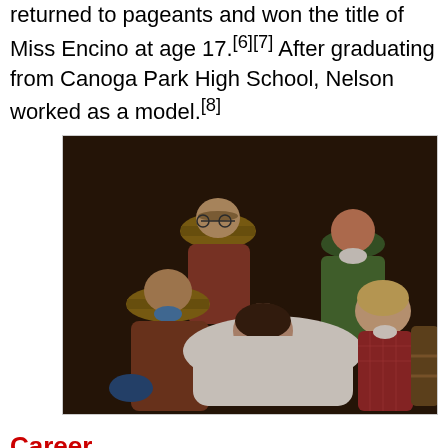returned to pageants and won the title of Miss Encino at age 17.[6][7] After graduating from Canoga Park High School, Nelson worked as a model.[8]
[Figure (photo): A color photograph showing a scene with five people in period Western-style clothing. A man in a brown cowboy hat kneels over a woman in white who appears to be unconscious or ill. Another man in a tan cowboy hat stands behind, and a woman in a green dress looks on with concern. A young blonde woman in a red checkered dress assists on the right. A wooden barrel is visible on the far right.]
Career